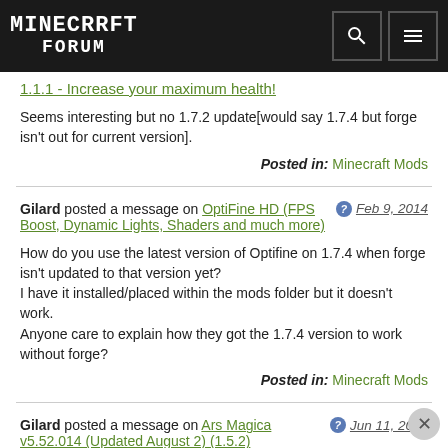MINECRAFT FORUM
1.1.1 - Increase your maximum health!
Seems interesting but no 1.7.2 update[would say 1.7.4 but forge isn't out for current version].
Posted in: Minecraft Mods
Gilard posted a message on OptiFine HD (FPS Boost, Dynamic Lights, Shaders and much more) Feb 9, 2014
How do you use the latest version of Optifine on 1.7.4 when forge isn't updated to that version yet?
I have it installed/placed within the mods folder but it doesn't work.
Anyone care to explain how they got the 1.7.4 version to work without forge?
Posted in: Minecraft Mods
Gilard posted a message on Ars Magica v5.52.014 (Updated August 2) (1.5.2) Jun 11, 2013